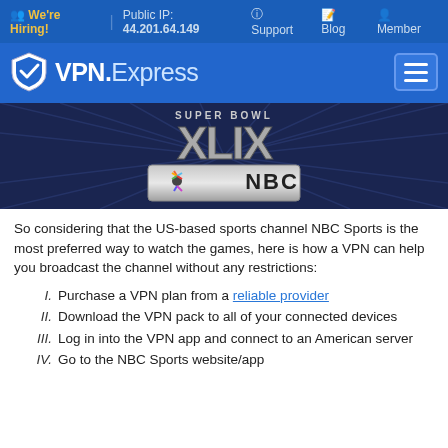We're Hiring! | Public IP: 44.201.64.149 | Support | Blog | Member
[Figure (logo): VPN.Express logo with shield icon and hamburger menu button on blue background]
[Figure (photo): Super Bowl XLIX NBC logo on dark blue background with radiating lines]
So considering that the US-based sports channel NBC Sports is the most preferred way to watch the games, here is how a VPN can help you broadcast the channel without any restrictions:
I. Purchase a VPN plan from a reliable provider
II. Download the VPN pack to all of your connected devices
III. Log in into the VPN app and connect to an American server
IV. Go to the NBC Sports website/app